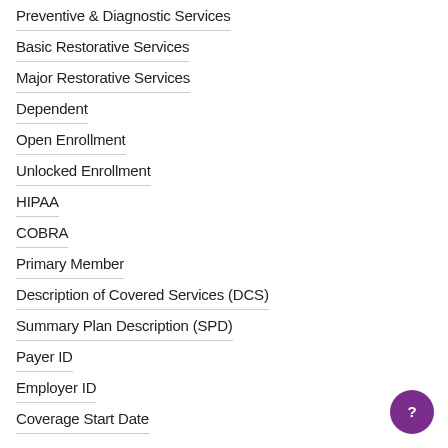Preventive & Diagnostic Services
Basic Restorative Services
Major Restorative Services
Dependent
Open Enrollment
Unlocked Enrollment
HIPAA
COBRA
Primary Member
Description of Covered Services (DCS)
Summary Plan Description (SPD)
Payer ID
Employer ID
Coverage Start Date